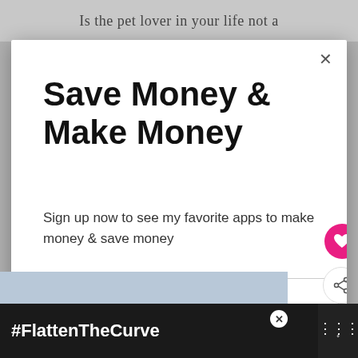Is the pet lover in your life not a
Save Money & Make Money
Sign up now to see my favorite apps to make money & save money
Email address
Get It Now
WHAT'S NEXT → Gardening Books Gift...
#FlattenTheCurve